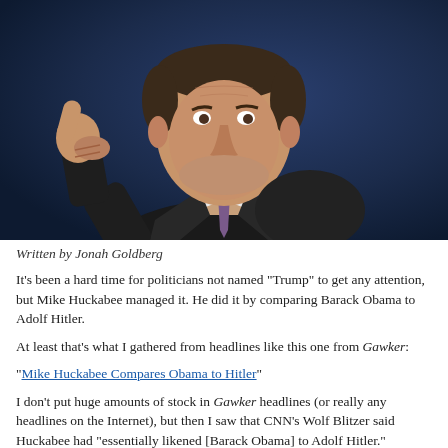[Figure (photo): Man in dark suit giving thumbs up gesture, photographed against a dark blue background. The man is heavyset, wearing a dark jacket and purple tie.]
Written by Jonah Goldberg
It’s been a hard time for politicians not named “Trump” to get any attention, but Mike Huckabee managed it. He did it by comparing Barack Obama to Adolf Hitler.
At least that’s what I gathered from headlines like this one from Gawker:
“Mike Huckabee Compares Obama to Hitler”
I don’t put huge amounts of stock in Gawker headlines (or really any headlines on the Internet), but then I saw that CNN’s Wolf Blitzer said Huckabee had “essentially likened [Barack Obama] to Adolf Hitler.” National Journal’s Ron Fournier went on a tear on Twitter, insisting that